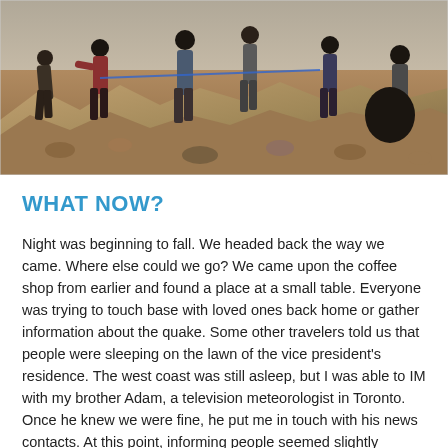[Figure (photo): People working through rubble and debris at an earthquake disaster site, multiple people visible carrying and moving through rocky debris]
WHAT NOW?
Night was beginning to fall. We headed back the way we came. Where else could we go? We came upon the coffee shop from earlier and found a place at a small table. Everyone was trying to touch base with loved ones back home or gather information about the quake. Some other travelers told us that people were sleeping on the lawn of the vice president's residence. The west coast was still asleep, but I was able to IM with my brother Adam, a television meteorologist in Toronto. Once he knew we were fine, he put me in touch with his news contacts. At this point, informing people seemed slightly productive. As